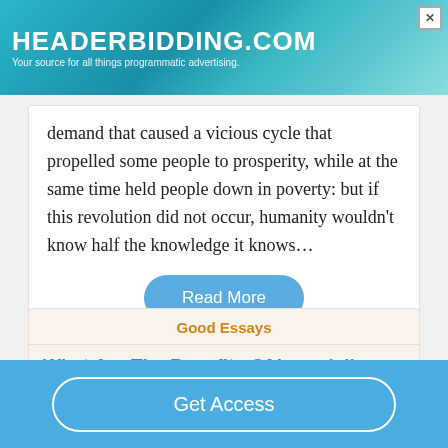[Figure (other): Ad banner for headerbidding.com with teal gradient background]
demand that caused a vicious cycle that propelled some people to prosperity, while at the same time held people down in poverty: but if this revolution did not occur, humanity wouldn't know half the knowledge it knows…
Read More
Good Essays
What Are The Benefits Of Imperialism
491 Words
Get Access